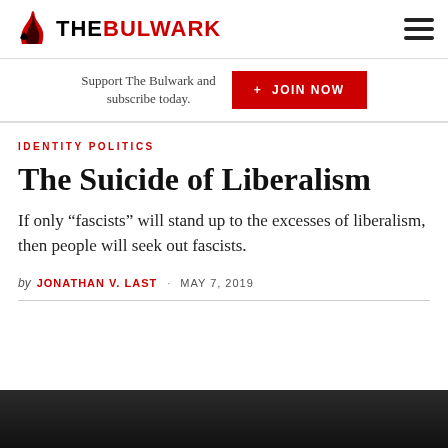THE BULWARK
Support The Bulwark and subscribe today.
+ JOIN NOW
IDENTITY POLITICS
The Suicide of Liberalism
If only “fascists” will stand up to the excesses of liberalism, then people will seek out fascists.
by JONATHAN V. LAST · MAY 7, 2019
[Figure (photo): Dark photograph, partially visible at the bottom of the page]